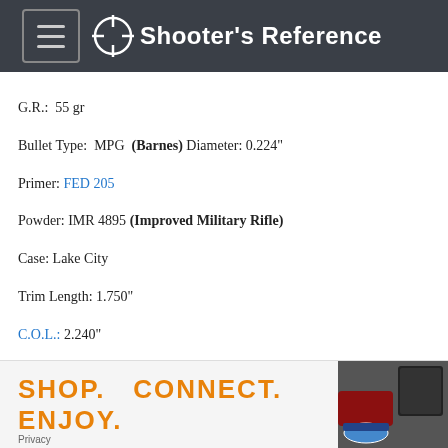Shooter's Reference
G.R.:  55 gr
Bullet Type:  MPG  (Barnes) Diameter: 0.224"
Primer: FED 205
Powder: IMR 4895 (Improved Military Rifle)
Case: Lake City
Trim Length: 1.750"
C.O.L.: 2.240"
Starting Powder: 24.4 gr
Starting Velocity: 2,844
Starting Pressure:
Max Powder: 26.4 gr
Max Velocity: 3,069
Max Pressure:
SHOP.   CONNECT.   ENJOY.
Privacy